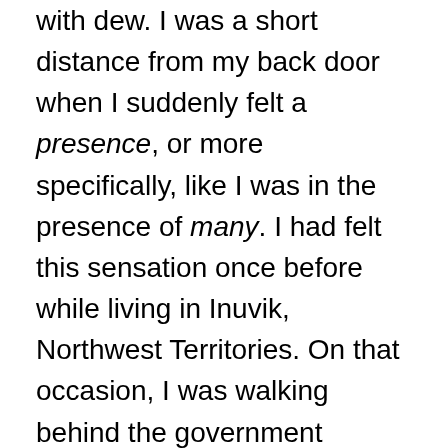with dew. I was a short distance from my back door when I suddenly felt a presence, or more specifically, like I was in the presence of many. I had felt this sensation once before while living in Inuvik, Northwest Territories. On that occasion, I was walking behind the government buildings in the 24-hour darkness of winter when I suddenly felt like I was not alone. I looked up and saw that I was surrounded by hundreds of huge ravens roosting on the warm pipes that lined the back and sides of these buildings. It was an incredible experience, and now here I was again twenty years later in my own backyard in broad daylight feeling that same presence again. I instinctively looked up but saw nothing but sky and tree canopy. I looked around me but no one was there. I finally looked down at my feet and was amazed to see that all around me on the surface of the ground were hundreds (maybe thousands?) of huge dew worms! They were all mating